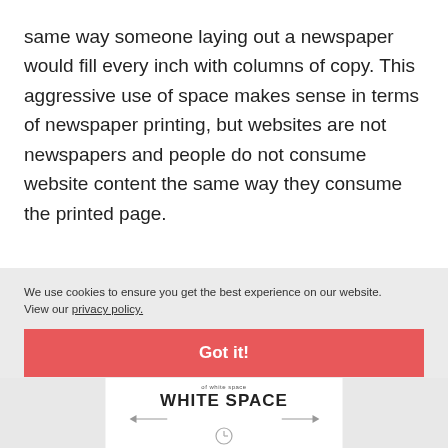same way someone laying out a newspaper would fill every inch with columns of copy. This aggressive use of space makes sense in terms of newspaper printing, but websites are not newspapers and people do not consume website content the same way they consume the printed page.
We use cookies to ensure you get the best experience on our website. View our privacy policy.
Got it!
[Figure (infographic): White space diagram showing arrows pointing left and right from the text WHITE SPACE with a clock icon below]